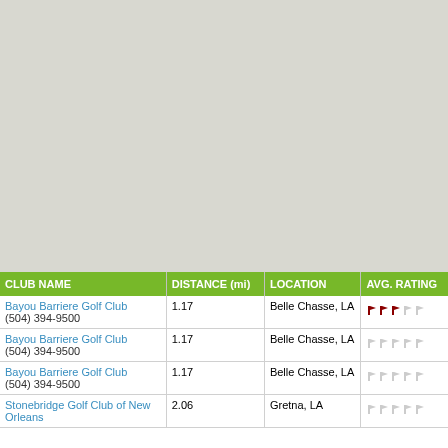[Figure (map): Greyed-out map area showing a geographic region near Belle Chasse and Gretna, Louisiana]
| CLUB NAME | DISTANCE (mi) | LOCATION | AVG. RATING |
| --- | --- | --- | --- |
| Bayou Barriere Golf Club
(504) 394-9500 | 1.17 | Belle Chasse, LA | 3/5 flags |
| Bayou Barriere Golf Club
(504) 394-9500 | 1.17 | Belle Chasse, LA | 0/5 flags |
| Bayou Barriere Golf Club
(504) 394-9500 | 1.17 | Belle Chasse, LA | 0/5 flags |
| Stonebridge Golf Club of New Orleans | 2.06 | Gretna, LA | 0/5 flags |